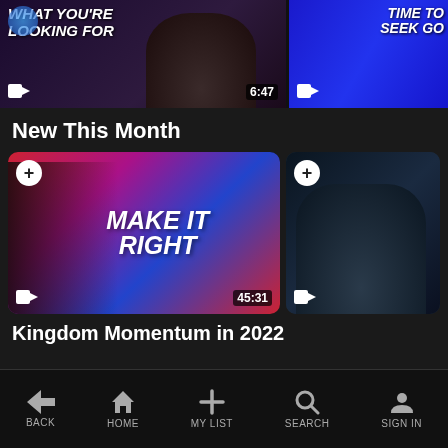[Figure (screenshot): Video thumbnail showing text WHAT YOU'RE LOOKING FOR with timestamp 6:47]
[Figure (screenshot): Video thumbnail showing TIME TO SEEK GO on blue background]
New This Month
[Figure (screenshot): Video thumbnail for MAKE IT RIGHT with timestamp 45:31]
[Figure (screenshot): Second video thumbnail in New This Month row]
Kingdom Momentum in 2022
BACK  HOME  MY LIST  SEARCH  SIGN IN